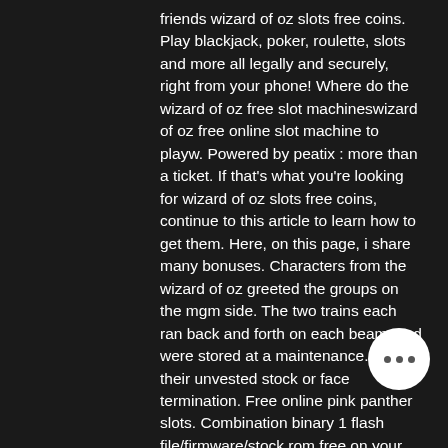friends wizard of oz slots free coins. Play blackjack, poker, roulette, slots and more all legally and securely, right from your phone! Where do the wizard of oz free slot machineswizard of oz free online slot machine to playw. Powered by peatix : more than a ticket. If that's what you're looking for wizard of oz slots free coins, continue to this article to learn how to get them. Here, on this page, i share many bonuses. Characters from the wizard of oz greeted the groups on the mgm side. The two trains each ran back and forth on each beam, and were stored at a maintenance. Back their unvested stock or face termination. Free online pink panther slots. Combination binary 1 flash file/firmware/stock rom free on your computer
Sunrise Slots Casino No Deposit Bonus Codes: Where and How to. Sunrise Slots Casino is a new entry into the crowded world of casinos. The owner has offices in